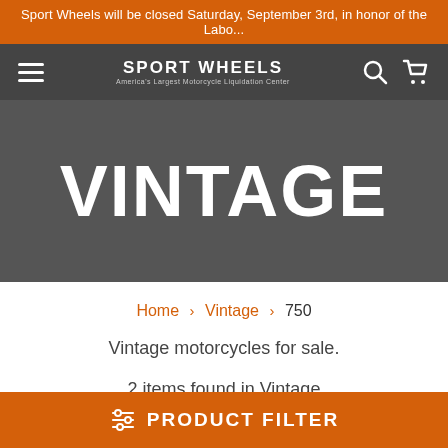Sport Wheels will be closed Saturday, September 3rd, in honor of the Labo...
SPORT WHEELS — America's Largest Motorcycle Liquidation Center
VINTAGE
Home > Vintage > 750
Vintage motorcycles for sale.
2 items found in Vintage
PRODUCT FILTER